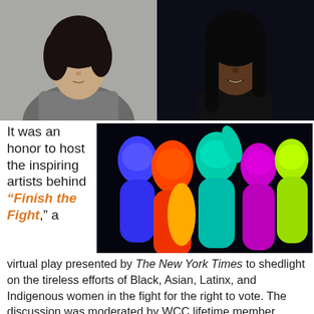[Figure (photo): Top-left: Portrait of an Asian woman with dark hair, wearing a grey tweed coat with white collar, photographed against a grey background.]
[Figure (photo): Top-right: Portrait of a Black woman with long dark hair, wearing a black sleeveless top, photographed against a dark background.]
[Figure (illustration): Center-right: Colorful neon-style illustration of four women silhouettes in vibrant colors (blue, orange/red, cyan/green, magenta/yellow) on a dark background, representing the 'Finish the Fight' virtual play.]
It was an honor to host the inspiring artists behind "Finish the Fight," a virtual play presented by The New York Times to shedlight on the tireless efforts of Black, Asian, Latinx, and Indigenous women in the fight for the right to vote. The discussion was moderated by WCC lifetime member (Grace) Angela Henry,